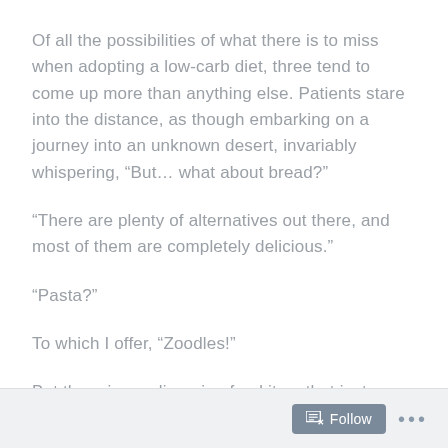Of all the possibilities of what there is to miss when adopting a low-carb diet, three tend to come up more than anything else. Patients stare into the distance, as though embarking on a journey into an unknown desert, invariably whispering, “But… what about bread?”
“There are plenty of alternatives out there, and most of them are completely delicious.”
“Pasta?”
To which I offer, “Zoodles!”
But there is one lingering food item that just never quite cuts it.
Follow …